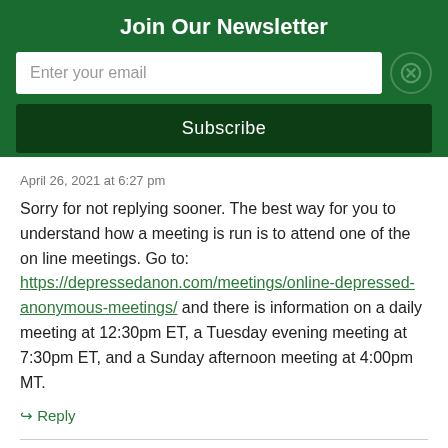Join Our Newsletter
Enter your email
Subscribe
April 26, 2021 at 6:27 pm
Sorry for not replying sooner. The best way for you to understand how a meeting is run is to attend one of the on line meetings. Go to: https://depressedanon.com/meetings/online-depressed-anonymous-meetings/ and there is information on a daily meeting at 12:30pm ET, a Tuesday evening meeting at 7:30pm ET, and a Sunday afternoon meeting at 4:00pm MT.
Reply
Mel